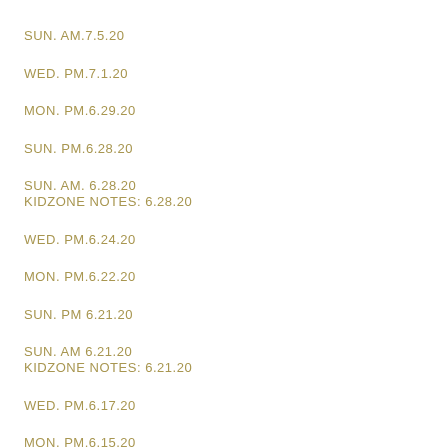SUN. AM.7.5.20
WED. PM.7.1.20
MON. PM.6.29.20
SUN. PM.6.28.20
SUN. AM. 6.28.20
KIDZONE NOTES: 6.28.20
WED. PM.6.24.20
MON. PM.6.22.20
SUN. PM 6.21.20
SUN. AM 6.21.20
KIDZONE NOTES: 6.21.20
WED. PM.6.17.20
MON. PM.6.15.20